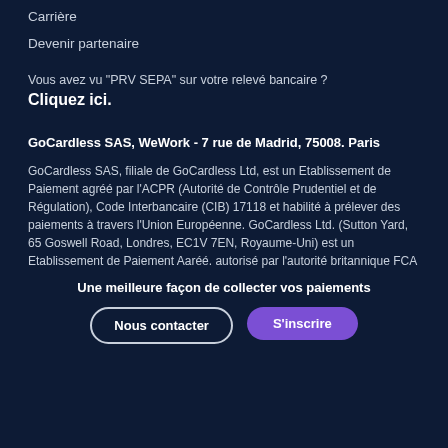Carrière
Devenir partenaire
Vous avez vu "PRV SEPA" sur votre relevé bancaire ? Cliquez ici.
GoCardless SAS, WeWork - 7 rue de Madrid, 75008. Paris
GoCardless SAS, filiale de GoCardless Ltd, est un Etablissement de Paiement agréé par l'ACPR (Autorité de Contrôle Prudentiel et de Régulation), Code Interbancaire (CIB) 17118 et habilité à prélever des paiements à travers l'Union Européenne. GoCardless Ltd. (Sutton Yard, 65 Goswell Road, Londres, EC1V 7EN, Royaume-Uni) est un Etablissement de Paiement Aaréé. autorisé par l'autorité britannique FCA
Une meilleure façon de collecter vos paiements
Nous contacter
S'inscrire